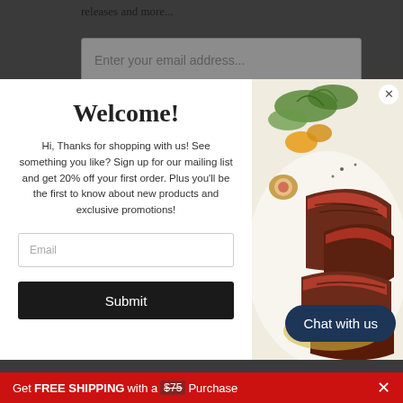releases and more...
Enter your email address...
Welcome!
Hi, Thanks for shopping with us! See something you like? Sign up for our mailing list and get 20% off your first order. Plus you'll be the first to know about new products and exclusive promotions!
[Figure (photo): Photo of sliced seared steak with figs and greens on a white plate]
Email
Submit
Interested in selling our products in your store? Contact us direct or checkout our wholesale pricing page
Chat with us
Get FREE SHIPPING with a $75 Purchase